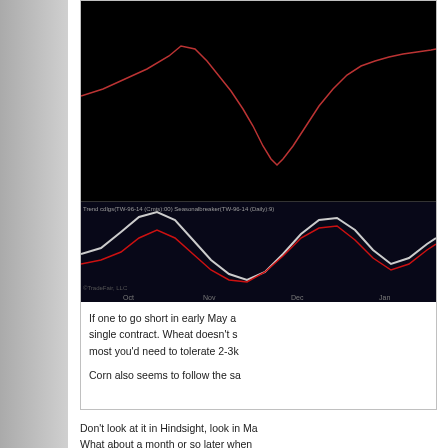[Figure (continuous-plot): Two-panel trading chart on black background. Top panel shows price candlestick/line chart. Bottom panel shows oscillator indicator with white and red lines forming wave patterns, with x-axis labels: Oct, Nov, Dec, Jan.]
If one to go short in early May a single contract. Wheat doesn't s most you'd need to tolerate 2-3k
Corn also seems to follow the sa
Don't look at it in Hindsight, look in Ma What about a month or so later when
Hindsight everything is perfect, but the
[Figure (photo): Two military-style patches side by side. Left patch on dark background shows wings and skull emblem with text 'RIPPER' below. Right patch shows a cowboy/gunslinger character with circular text reading 'GUNSLINGER'.]